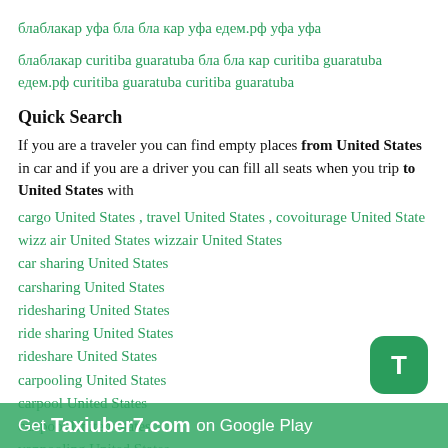блаблакар уфа бла бла кар уфа едем.рф уфа уфа
блаблакар curitiba guaratuba бла бла кар curitiba guaratuba едем.рф curitiba guaratuba curitiba guaratuba
Quick Search
If you are a traveler you can find empty places from United States in car and if you are a driver you can fill all seats when you trip to United States with
cargo United States , travel United States , covoiturage United States wizz air United States wizzair United States
car sharing United States
carsharing United States
ridesharing United States
ride sharing United States
rideshare United States
carpooling United States
carpool United States
car pool United States
vanpooling United States
autostop United States
autostop United States
avtostop United States
Get Taxiuber7.com on Google Play